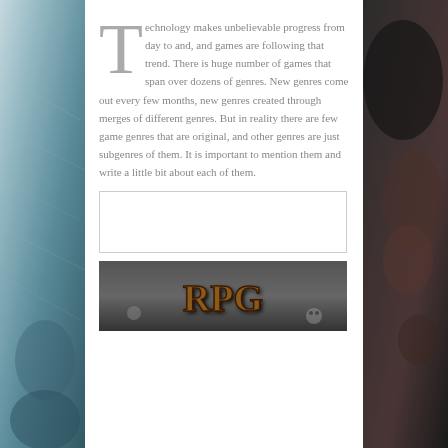[Figure (photo): Dark hooded figure on the right side background]
[Figure (photo): Textured leather or armor surface on the left side background]
Technology makes unbelievable progress from day to and, and games are following that trend. There is huge number of games that span over dozens of genres. New genres come out every few months, new genres created through merges of different genres. But in reality there are few game genres that are original, and other genres are just subgenres of them. It is important to mention them and write a little bit about each of them.
[Figure (other): Empty bordered advertisement or placeholder box]
[Figure (illustration): RPG logo text on dark background]